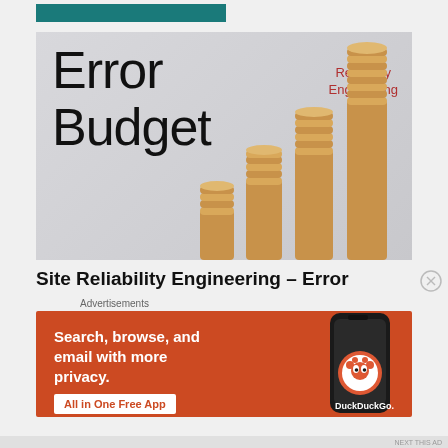[Figure (illustration): Error Budget article thumbnail: large text 'Error Budget' on grey background with stacked coins ascending in height on the right side. Top right corner shows 'Site Reilability Engineering' label in grey and red text.]
Site Reliability Engineering – Error
Advertisements
[Figure (illustration): DuckDuckGo advertisement banner with orange background. Left side shows text 'Search, browse, and email with more privacy.' and button 'All in One Free App'. Right side shows a smartphone with DuckDuckGo logo and brand name.]